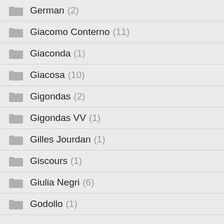German (2)
Giacomo Conterno (11)
Giaconda (1)
Giacosa (10)
Gigondas (2)
Gigondas VV (1)
Gilles Jourdan (1)
Giscours (1)
Giulia Negri (6)
Godollo (1)